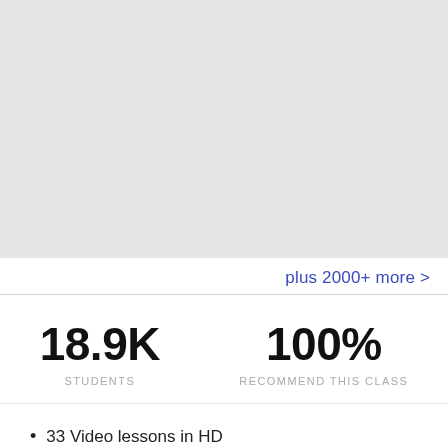[Figure (photo): Gray placeholder image area at top of page]
plus 2000+ more >
18.9K STUDENTS
100% RECOMMEND THIS CLASS
33 Video lessons in HD
15h 30m of class content